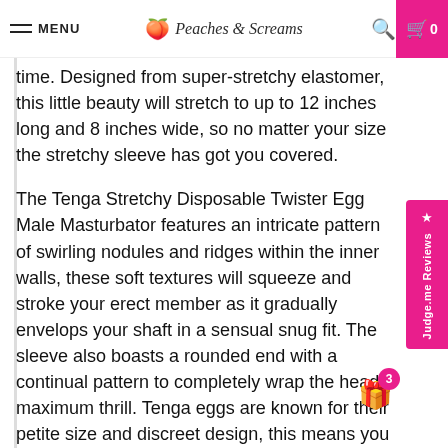MENU | Peaches & Screams | Search | Cart 0
time. Designed from super-stretchy elastomer, this little beauty will stretch to up to 12 inches long and 8 inches wide, so no matter your size the stretchy sleeve has got you covered.
The Tenga Stretchy Disposable Twister Egg Male Masturbator features an intricate pattern of swirling nodules and ridges within the inner walls, these soft textures will squeeze and stroke your erect member as it gradually envelops your shaft in a sensual snug fit. The sleeve also boasts a rounded end with a continual pattern to completely wrap the head maximum thrill. Tenga eggs are known for their petite size and discreet design, this means you can take your little pocket pussy wherever you go and have fun on the road. This Japanese sex toy is designed for single use, but with careful use, adequate lubrication and painstaking cleaning